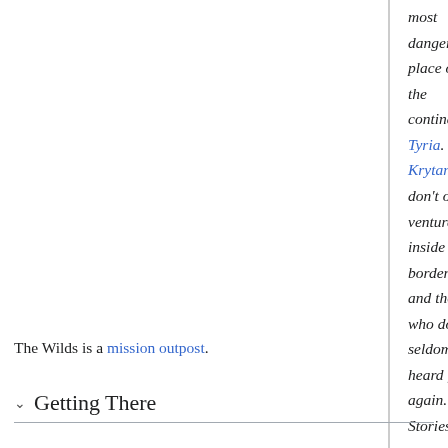most dangerous place on the continent of Tyria. The Krytans don't often venture inside its borders, and those who do are seldom heard from again. Stories of man-eating plants and gigantic insects are commonly told around the campfires and inside the huts of the local villages; most of the time to scare little children from wandering into its clinging vines.
— in-game description
The Wilds is a mission outpost.
Getting There